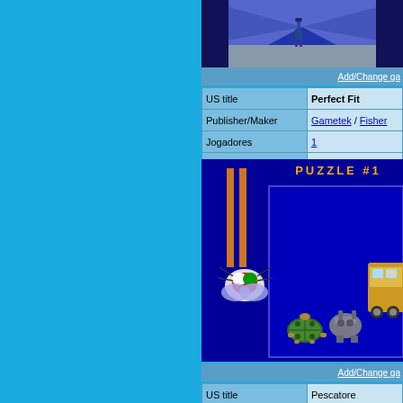[Figure (screenshot): Top portion of a video game screenshot showing a character standing in a corridor with blue/grey tones]
Add/Change ga
|  |  |
| --- | --- |
| US title | Perfect Fit |
| Publisher/Maker | Gametek / Fisher |
| Jogadores | 1 |
| Gênero | Unique |
[Figure (screenshot): Video game screenshot showing puzzle #1 with colorful toy objects (bug, turtle, monster) on a dark blue background]
Add/Change ga
|  |  |
| --- | --- |
| US title | Pescatore |
| Release year | 1991 |
| Publisher/Maker | Tiaheit / Sys... |